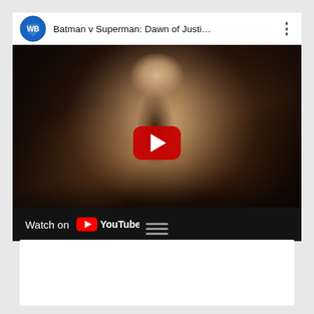[Figure (screenshot): YouTube video player embed showing 'Batman v Superman: Dawn of Justi...' with WB logo in top-left, three-dot menu in top-right, a dark movie still thumbnail of Superman surrounded by a crowd with outstretched hands, a red YouTube play button overlay in the center, and a 'Watch on YouTube' bar at the bottom.]